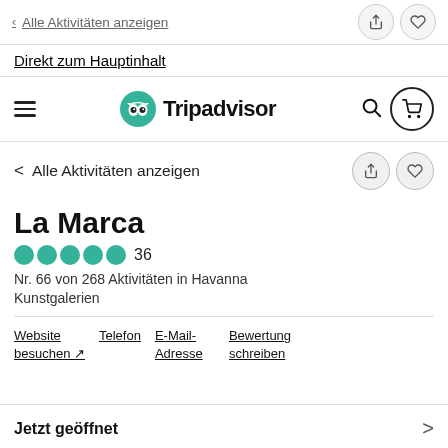Alle Aktivitäten anzeigen
Direkt zum Hauptinhalt
[Figure (logo): Tripadvisor logo with owl icon and wordmark]
Alle Aktivitäten anzeigen
La Marca
36
Nr. 66 von 268 Aktivitäten in Havanna
Kunstgalerien
Website besuchen ↗	Telefon	E-Mail-Adresse	Bewertung schreiben
Jetzt geöffnet